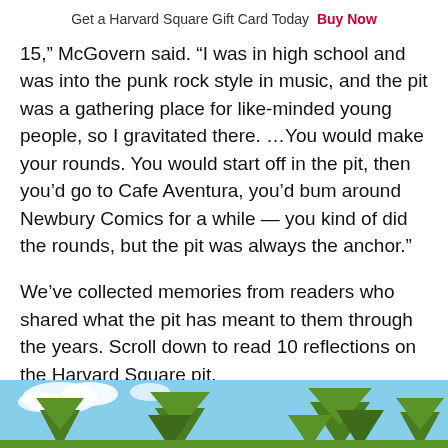Get a Harvard Square Gift Card Today  Buy Now
15,” McGovern said. “I was in high school and was into the punk rock style in music, and the pit was a gathering place for like-minded young people, so I gravitated there. …You would make your rounds. You would start off in the pit, then you’d go to Cafe Aventura, you’d bum around Newbury Comics for a while — you kind of did the rounds, but the pit was always the anchor.”
We’ve collected memories from readers who shared what the pit has meant to them through the years. Scroll down to read 10 reflections on the Harvard Square pit.
[Figure (photo): Outdoor photo showing trees with green foliage against a blue sky with white clouds]